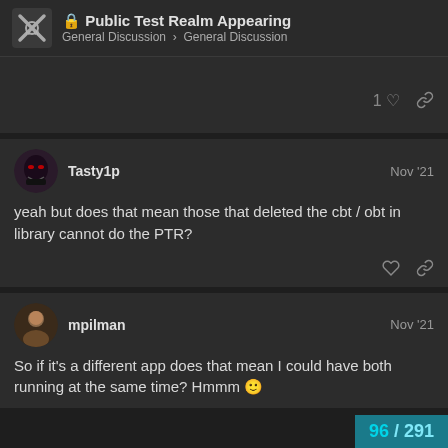Public Test Realm Appearing — General Discussion › General Discussion
1 like, link icon
Tasty1p — Nov '21
yeah but does that mean those that deleted the cbt / obt in library cannot do the PTR?
mpilman — Nov '21
So if it's a different app does that mean I could have both running at the same time? Hmmm 🙂
96 / 291